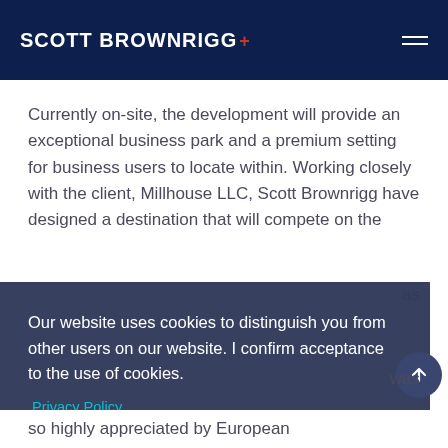SCOTT BROWNRIGG+
Currently on-site, the development will provide an exceptional business park and a premium setting for business users to locate within. Working closely with the client, Millhouse LLC, Scott Brownrigg have designed a destination that will compete on the
as
Our website uses cookies to distinguish you from other users on our website. I confirm acceptance to the use of cookies.
Privacy Policy
Decline
Yes
was
so highly appreciated by European